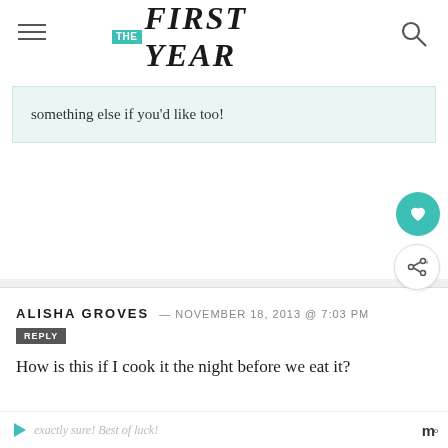THE FIRST YEAR
something else if you'd like too!
ALISHA GROVES — NOVEMBER 18, 2013 @ 7:03 PM
REPLY
How is this if I cook it the night before we eat it?
THE FIRST YEAR BLOG — NOVEMBER 18, 2013 @ 7:21 PM
I think it is best served warm, so I am not exactly sure! Best of luck!